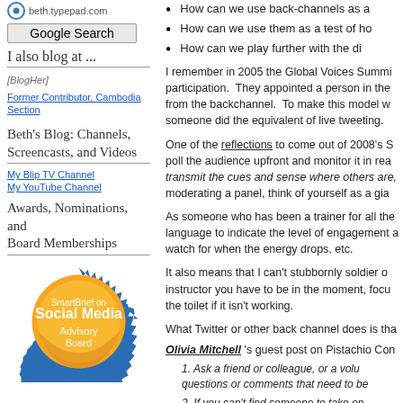beth.typepad.com
Google Search
I also blog at ...
[Figure (illustration): BlogHer logo image]
Former Contributor, Cambodia Section
Beth's Blog: Channels, Screencasts, and Videos
My Blip TV Channel
My YouTube Channel
Awards, Nominations, and Board Memberships
[Figure (logo): SmartBrief on Social Media Advisory Board badge - orange circular badge with spiky blue border]
How can we use back-channels as a...
How can we use them as a test of ho...
How can we play further with the di...
I remember in 2005 the Global Voices Summi... participation. They appointed a person in the... from the backchannel. To make this model w... someone did the equivalent of live tweeting.
One of the reflections to come out of 2008's S... poll the audience upfront and monitor it in rea... transmit the cues and sense where others are,... moderating a panel, think of yourself as a gia...
As someone who has been a trainer for all the... language to indicate the level of engagement a... watch for when the energy drops, etc.
It also means that I can't stubbornly soldier on... instructor you have to be in the moment, focu... the toilet if it isn't working.
What Twitter or other back channel does is tha...
Olivia Mitchell 's guest post on Pistachio Con...
1. Ask a friend or colleague, or a volu... questions or comments that need to be...
2. If you can't find someone to take on...